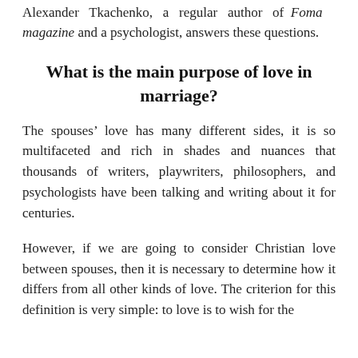Alexander Tkachenko, a regular author of Foma magazine and a psychologist, answers these questions.
What is the main purpose of love in marriage?
The spouses’ love has many different sides, it is so multifaceted and rich in shades and nuances that thousands of writers, playwriters, philosophers, and psychologists have been talking and writing about it for centuries.
However, if we are going to consider Christian love between spouses, then it is necessary to determine how it differs from all other kinds of love. The criterion for this definition is very simple: to love is to wish for the